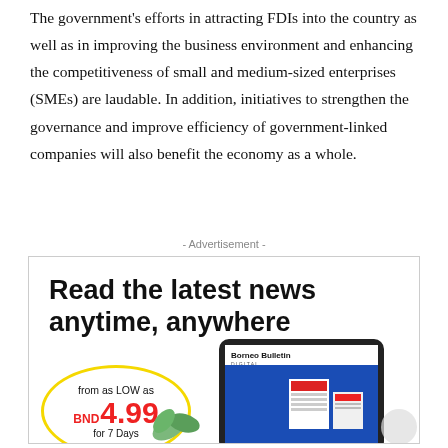The government's efforts in attracting FDIs into the country as well as in improving the business environment and enhancing the competitiveness of small and medium-sized enterprises (SMEs) are laudable. In addition, initiatives to strengthen the governance and improve efficiency of government-linked companies will also benefit the economy as a whole.
- Advertisement -
[Figure (infographic): Advertisement box for Borneo Bulletin Digital subscription. Headline: 'Read the latest news anytime, anywhere'. Circular badge showing 'from as LOW as BND 4.99 for 7 Days'. Image of a tablet device showing the Borneo Bulletin Digital app.]